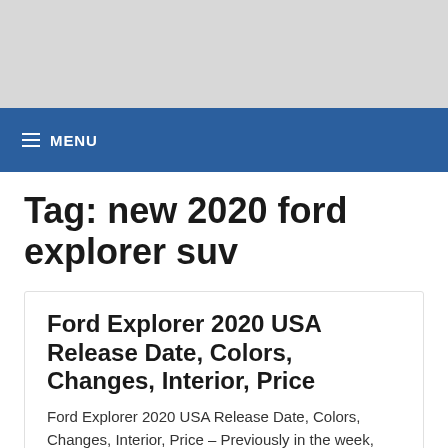[Figure (other): Gray banner/header image area at top of webpage]
≡ MENU
Tag: new 2020 ford explorer suv
Ford Explorer 2020 USA Release Date, Colors, Changes, Interior, Price
Ford Explorer 2020 USA Release Date, Colors, Changes, Interior, Price – Previously in the week, Ford previewed the all-new Explorer, a leading living room version of the Polic...